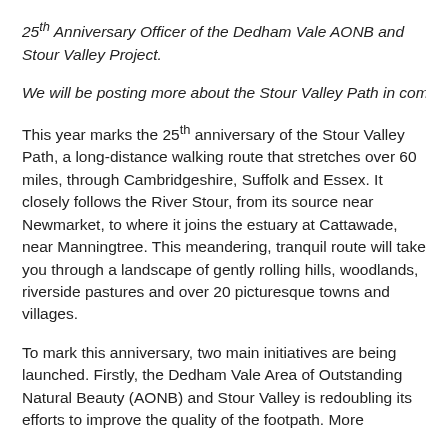25th Anniversary Officer of the Dedham Vale AONB and Stour Valley Project.
We will be posting more about the Stour Valley Path in comi
This year marks the 25th anniversary of the Stour Valley Path, a long-distance walking route that stretches over 60 miles, through Cambridgeshire, Suffolk and Essex. It closely follows the River Stour, from its source near Newmarket, to where it joins the estuary at Cattawade, near Manningtree. This meandering, tranquil route will take you through a landscape of gently rolling hills, woodlands, riverside pastures and over 20 picturesque towns and villages.
To mark this anniversary, two main initiatives are being launched. Firstly, the Dedham Vale Area of Outstanding Natural Beauty (AONB) and Stour Valley is redoubling its efforts to improve the quality of the footpath. More